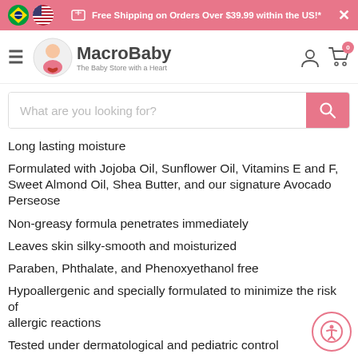Free Shipping on Orders Over $39.99 within the US!*
[Figure (logo): MacroBaby - The Baby Store with a Heart logo]
[Figure (screenshot): Search bar: What are you looking for?]
Long lasting moisture
Formulated with Jojoba Oil, Sunflower Oil, Vitamins E and F, Sweet Almond Oil, Shea Butter, and our signature Avocado Perseose
Non-greasy formula penetrates immediately
Leaves skin silky-smooth and moisturized
Paraben, Phthalate, and Phenoxyethanol free
Hypoallergenic and specially formulated to minimize the risk of allergic reactions
Tested under dermatological and pediatric control
10.14 fl. oz. bottle